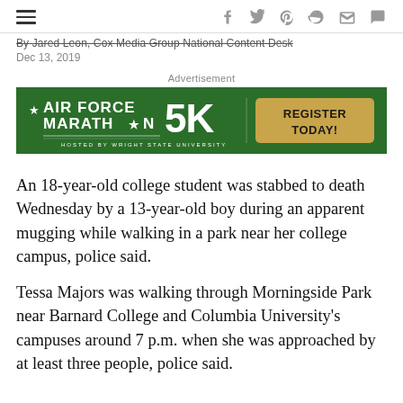≡  f  𝕥  p  ♂  ✉  💬
By Jared Leon, Cox Media Group National Content Desk
Dec 13, 2019
Advertisement
[Figure (illustration): Air Force Marathon 5K advertisement banner with green background. Left side shows 'AIR FORCE MARATHON' in white bold text with a star logo, '5K' in large white letters, and 'HOSTED BY WRIGHT STATE UNIVERSITY' below. Right side has a tan/gold rounded rectangle button saying 'REGISTER TODAY!']
An 18-year-old college student was stabbed to death Wednesday by a 13-year-old boy during an apparent mugging while walking in a park near her college campus, police said.
Tessa Majors was walking through Morningside Park near Barnard College and Columbia University's campuses around 7 p.m. when she was approached by at least three people, police said.